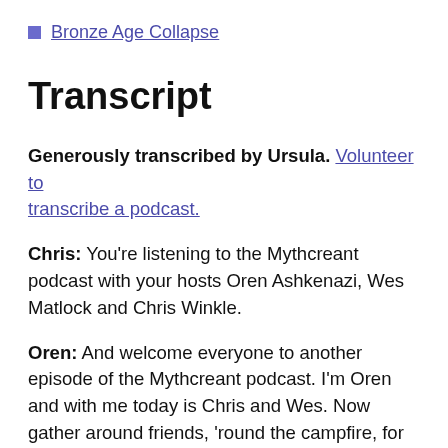Bronze Age Collapse
Transcript
Generously transcribed by Ursula. Volunteer to transcribe a podcast.
Chris: You’re listening to the Mythcreant podcast with your hosts Oren Ashkenazi, Wes Matlock and Chris Winkle.
Oren: And welcome everyone to another episode of the Mythcreant podcast. I’m Oren and with me today is Chris and Wes. Now gather around friends, ‘round the campfire, for today we’ll be telling you about the last ancient myth that is the Mythcreant